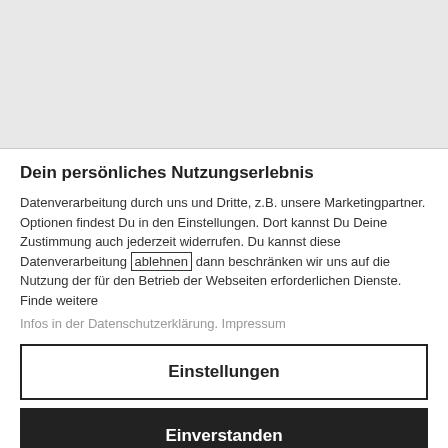Dein persönliches Nutzungserlebnis
Datenverarbeitung durch uns und Dritte, z.B. unsere Marketingpartner. Optionen findest Du in den Einstellungen. Dort kannst Du Deine Zustimmung auch jederzeit widerrufen. Du kannst diese Datenverarbeitung ablehnen dann beschränken wir uns auf die Nutzung der für den Betrieb der Webseiten erforderlichen Dienste. Finde weitere Infos in der Datenschutzerklärung. Impressum
Einstellungen
Einverstanden